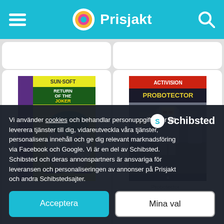Prisjakt
[Figure (screenshot): Batman Return of the Joker NES game cover - Sunsoft, showing the Joker with Batman logo]
[Figure (screenshot): Probotector NES game cover - Activision, showing robotic soldiers]
Vi använder cookies och behandlar personuppgifter för att leverera tjänster till dig, vidareutveckla våra tjänster, personalisera innehåll och ge dig relevant marknadsföring via Facebook och Google. Vi är en del av Schibsted. Schibsted och deras annonspartners är ansvariga för leveransen och personaliseringen av annonser på Prisjakt och andra Schibstedsajter.
Acceptera
Mina val